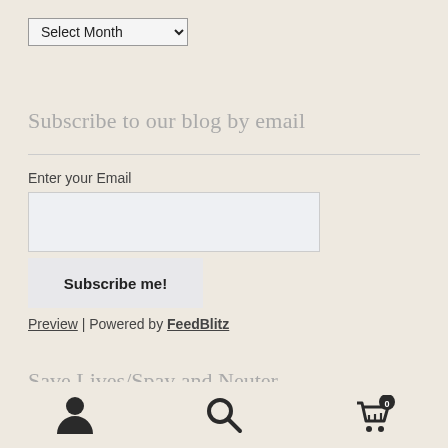[Figure (screenshot): Dropdown select element labeled 'Select Month' with a down arrow]
Subscribe to our blog by email
Enter your Email
[Figure (screenshot): Email text input field (empty)]
[Figure (screenshot): Subscribe me! button]
Preview | Powered by FeedBlitz
Save Lives/Spay and Neuter
User icon | Search icon | Cart icon with 0 badge